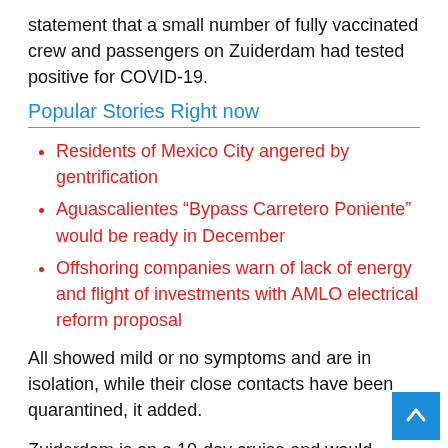statement that a small number of fully vaccinated crew and passengers on Zuiderdam had tested positive for COVID-19.
Popular Stories Right now
Residents of Mexico City angered by gentrification
Aguascalientes “Bypass Carretero Poniente” would be ready in December
Offshoring companies warn of lack of energy and flight of investments with AMLO electrical reform proposal
All showed mild or no symptoms and are in isolation, while their close contacts have been quarantined, it added.
Zuiderdam is on a 10-day cruise and would return to San Diego as scheduled on Jan. 2, the statement said.